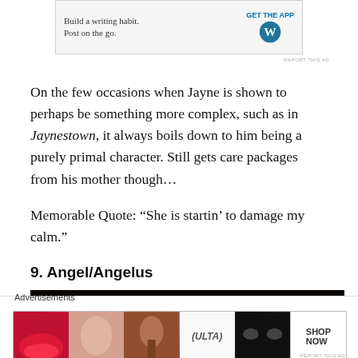[Figure (other): WordPress ad banner showing 'Build a writing habit. Post on the go.' with GET THE APP button and WordPress logo]
On the few occasions when Jayne is shown to perhaps be something more complex, such as in Jaynestown, it always boils down to him being a purely primal character. Still gets care packages from his mother though…
Memorable Quote: “She is startin’ to damage my calm.”
9. Angel/Angelus
[Figure (photo): Dark dramatic photo showing top of a person's head with dark hair, mostly in shadow against black background]
[Figure (other): ULTA Beauty advertisement banner with makeup imagery and SHOP NOW call to action]